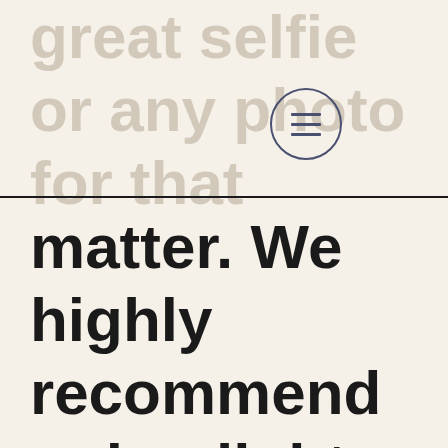great selfie or any photo for that matter. We highly recommend a ring light for indoor selfies, or going outside during golden-hour for that striking sun-kissed